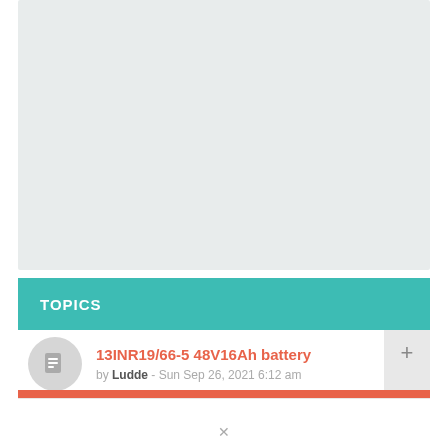[Figure (other): Gray placeholder area at top of page]
TOPICS
13INR19/66-5 48V16Ah battery by Ludde - Sun Sep 26, 2021 6:12 am